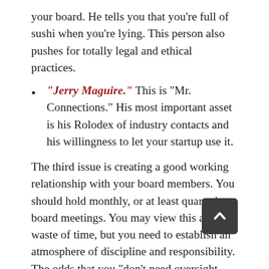your board. He tells you that you're full of sushi when you're lying. This person also pushes for totally legal and ethical practices.
"Jerry Maguire." This is "Mr. Connections." His most important asset is his Rolodex of industry contacts and his willingness to let your startup use it.
The third issue is creating a good working relationship with your board members. You should hold monthly, or at least quarterly, board meetings. You may view this as a waste of time, but you need to establish an atmosphere of discipline and responsibility. The odds that you "don't need oversight because you know what you're doing and it's "your" company are zero.